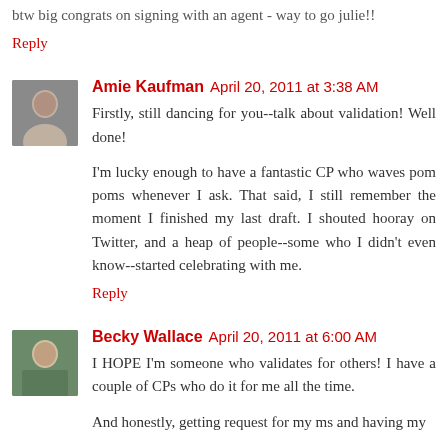btw big congrats on signing with an agent - way to go julie!!
Reply
Amie Kaufman  April 20, 2011 at 3:38 AM
Firstly, still dancing for you--talk about validation! Well done!
I'm lucky enough to have a fantastic CP who waves pom poms whenever I ask. That said, I still remember the moment I finished my last draft. I shouted hooray on Twitter, and a heap of people--some who I didn't even know--started celebrating with me.
Reply
Becky Wallace  April 20, 2011 at 6:00 AM
I HOPE I'm someone who validates for others! I have a couple of CPs who do it for me all the time.
And honestly, getting request for my ms and having my